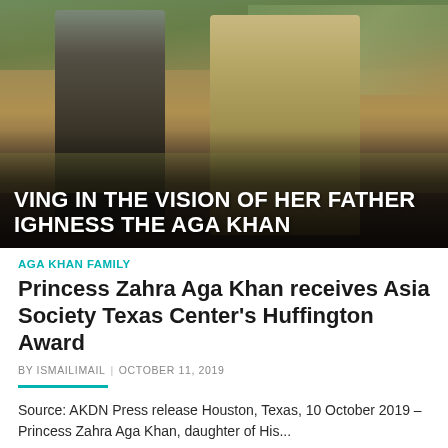[Figure (photo): Two people walking outdoors in a field/garden setting, with overlaid white uppercase text reading 'VING IN THE VISION OF HER FATHER IGHNESS THE AGA KHAN']
AGA KHAN FAMILY
Princess Zahra Aga Khan receives Asia Society Texas Center's Huffington Award
BY ISMAILIMAIL  |  OCTOBER 11, 2019
Source: AKDN Press release Houston, Texas, 10 October 2019 – Princess Zahra Aga Khan, daughter of His...